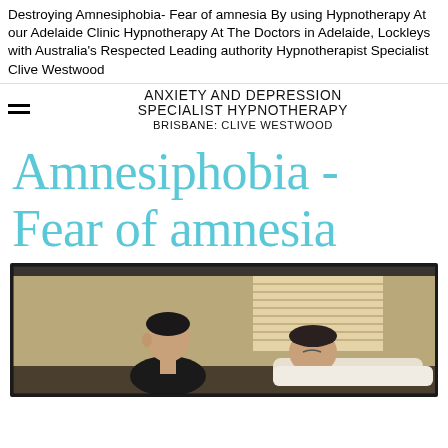Destroying Amnesiphobia- Fear of amnesia By using Hypnotherapy At our Adelaide Clinic Hypnotherapy At The Doctors in Adelaide, Lockleys with Australia's Respected Leading authority Hypnotherapist Specialist Clive Westwood
ANXIETY AND DEPRESSION SPECIALIST HYPNOTHERAPY BRISBANE: CLIVE WESTWOOD
Amnesiphobia - Fear of amnesia
[Figure (photo): A dark-framed photograph showing two men in an office or clinical room setting — one man sitting upright (practitioner/therapist) and another man reclined (patient/client), with window blinds visible in the background.]